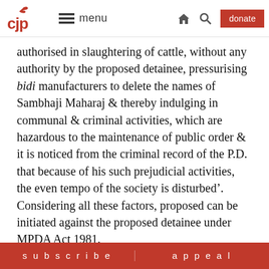CJP menu [home] [search] donate
authorised in slaughtering of cattle, without any authority by the proposed detainee, pressurising bidi manufacturers to delete the names of Sambhaji Maharaj & thereby indulging in communal & criminal activities, which are hazardous to the maintenance of public order & it is noticed from the criminal record of the P.D. that because of his such prejudicial activities, the even tempo of the society is disturbed'. Considering all these factors, proposed can be initiated against the proposed detainee under MPDA Act 1981.
Thereafter the Police Inspector P. C. B., Police Commissioner, Crime also scrutinised the proposal. The latter called him 'a rank communalist'. The Additional
subscribe | appeal